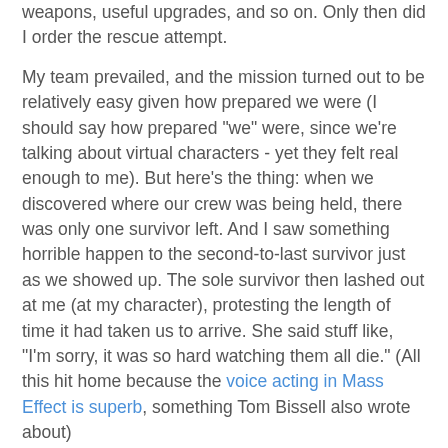weapons, useful upgrades, and so on. Only then did I order the rescue attempt.
My team prevailed, and the mission turned out to be relatively easy given how prepared we were (I should say how prepared "we" were, since we're talking about virtual characters - yet they felt real enough to me). But here's the thing: when we discovered where our crew was being held, there was only one survivor left. And I saw something horrible happen to the second-to-last survivor just as we showed up. The sole survivor then lashed out at me (at my character), protesting the length of time it had taken us to arrive. She said stuff like, "I'm sorry, it was so hard watching them all die." (All this hit home because the voice acting in Mass Effect is superb, something Tom Bissell also wrote about)
It was then that I realized: had I chosen to immediately go on the rescue mission, Mass Effect 2 was programmed to let more crew members survive. That choice I made unconsciously really mattered! Maybe I could have saved all of them! A glitch in the rendering underlined this for me,